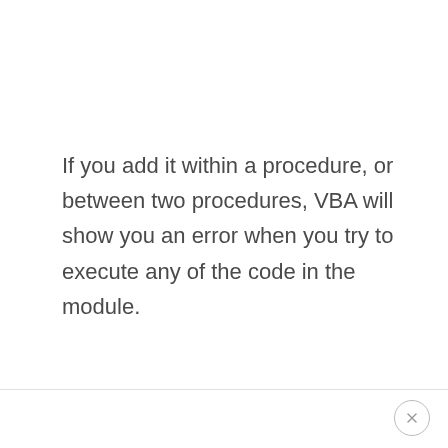If you add it within a procedure, or between two procedures, VBA will show you an error when you try to execute any of the code in the module.